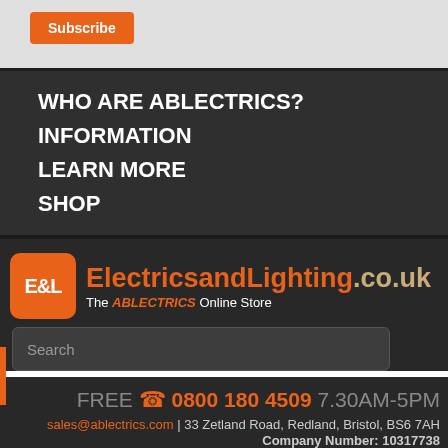Subscribe
WHO ARE ABLECTRICS?
INFORMATION
LEARN MORE
SHOP
[Figure (logo): E&L ElectricsandLighting.co.uk logo with orange badge and tagline 'The ABLECTRICS Online Store']
Search
FREE 0800 180 4509 7.30AM-5PM
sales@ablectrics.com | 33 Zetland Road, Redland, Bristol, BS6 7AH Company Number: 10317738